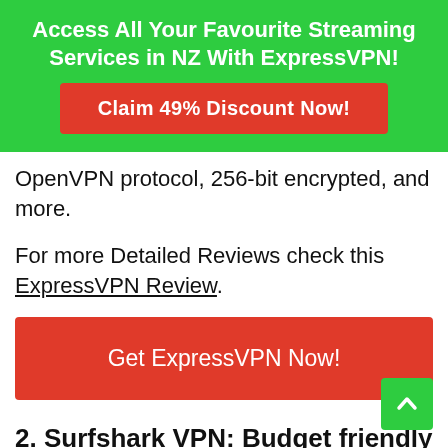[Figure (other): Green promotional banner with white bold text reading 'Access All Your Favourite Streaming Services in NZ With ExpressVPN!' and a red button 'Claim 49% Discount Now!']
OpenVPN protocol, 256-bit encrypted, and more.
For more Detailed Reviews check this ExpressVPN Review.
[Figure (other): Red button with white text reading 'Get ExpressVPN Now!']
2. Surfshark VPN: Budget friendly